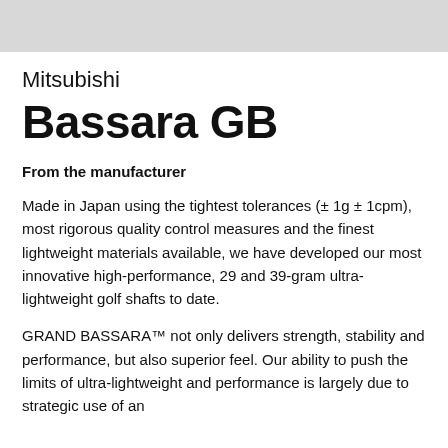Mitsubishi
Bassara GB
From the manufacturer
Made in Japan using the tightest tolerances (± 1g ± 1cpm), most rigorous quality control measures and the finest lightweight materials available, we have developed our most innovative high-performance, 29 and 39-gram ultra-lightweight golf shafts to date.
GRAND BASSARA™ not only delivers strength, stability and performance, but also superior feel. Our ability to push the limits of ultra-lightweight and performance is largely due to strategic use of an